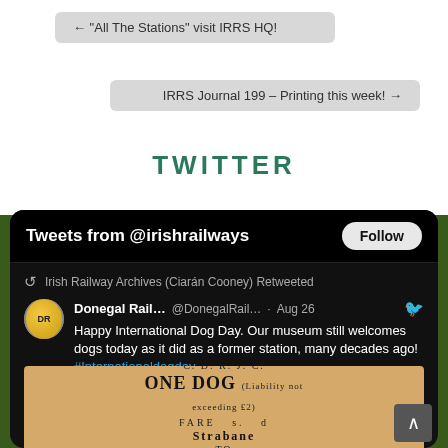← “All The Stations” visit IRRS HQ!
IRRS Journal 199 – Printing this week! →
TWITTER
[Figure (screenshot): Twitter widget showing tweets from @irishrailways with a Follow button, a retweet by Irish Railway Archives (Ciarán Cooney) from @DonegalRail... on Aug 26 saying 'Happy International Dog Day. Our museum still welcomes dogs today as it did as a former station, many decades ago! #Internationaldogday #InternationalDogDay2022', with an image of a vintage CDRC ONE DOG railway ticket for Strabane.]